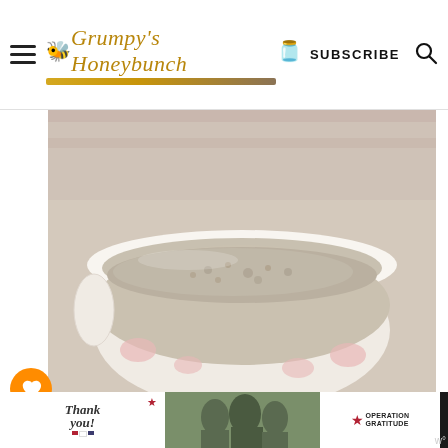Grumpy's Honeybunch — SUBSCRIBE
[Figure (photo): A white ceramic bowl with pink floral design filled with baked oatmeal pudding, placed on a pink striped cloth]
981
Mom's Old Fashioned Baked Rice Pudding
WHAT'S NEXT → Homemade Tortillas...
[Figure (photo): Thumbnail image of homemade tortillas]
[Figure (photo): Advertisement banner: Thank you! Operation Gratitude with military personnel image]